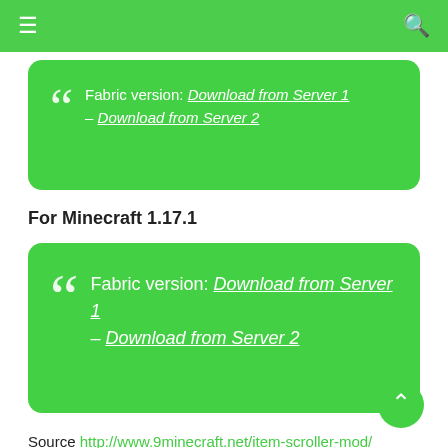≡  🔍
Fabric version: Download from Server 1 – Download from Server 2
For Minecraft 1.17.1
Fabric version: Download from Server 1 – Download from Server 2
Source http://www.9minecraft.net/item-scroller-mod/